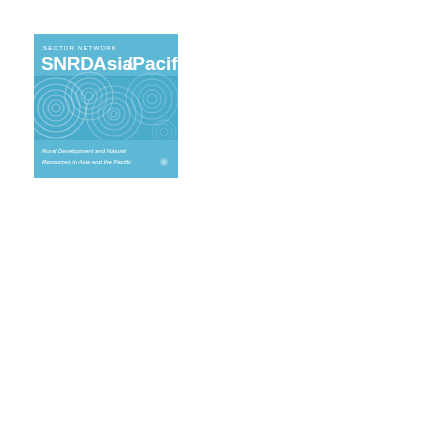[Figure (logo): SNRD Asia/Pacific sector network logo. Blue square with 'Sector Network' text and 'SNRD Asia/Pacific' in large bold white text at top, concentric circle pattern in middle band, and 'Rural Development and Natural Resources in Asia and the Pacific' subtitle at bottom.]